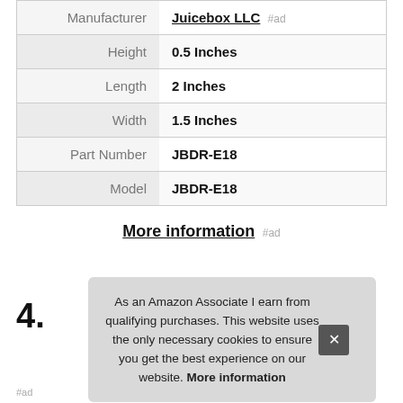| Attribute | Value |
| --- | --- |
| Manufacturer | Juicebox LLC #ad |
| Height | 0.5 Inches |
| Length | 2 Inches |
| Width | 1.5 Inches |
| Part Number | JBDR-E18 |
| Model | JBDR-E18 |
More information #ad
4.
As an Amazon Associate I earn from qualifying purchases. This website uses the only necessary cookies to ensure you get the best experience on our website. More information
#ad